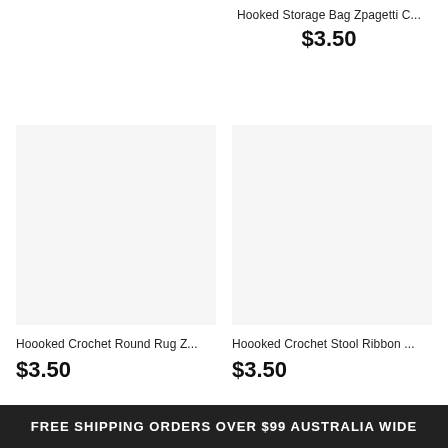Hooked Storage Bag Zpagetti C...
$3.50
[Figure (photo): Product image placeholder for Hoooked Crochet Round Rug Z... - light gray square]
Hoooked Crochet Round Rug Z...
$3.50
[Figure (photo): Product image placeholder for Hoooked Crochet Stool Ribbon ... - light gray square]
Hoooked Crochet Stool Ribbon ...
$3.50
FREE SHIPPING ORDERS OVER $99 AUSTRALIA WIDE